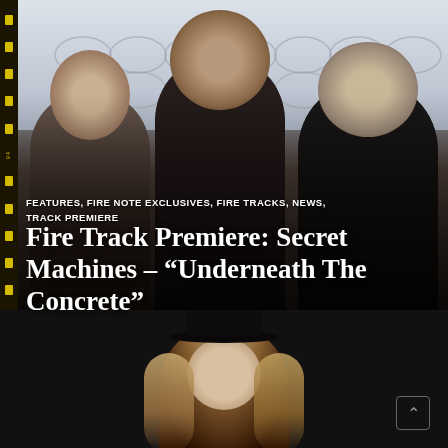[Figure (photo): Band photo of three male musicians (Secret Machines) standing against a chain-link fence background, with film strip border on the left side. Black and white/muted tones.]
FEATURES, FIRE NOTE EXCLUSIVES, FIRE TRACKS, NEWS, TRACK PREMIERE
Fire Track Premiere: Secret Machines – “Underneath The Concrete”
[Figure (photo): Partial photo of a woman with long wavy hair wearing a hat, visible from shoulders up, on a dark background. Only the top portion of the image is visible.]